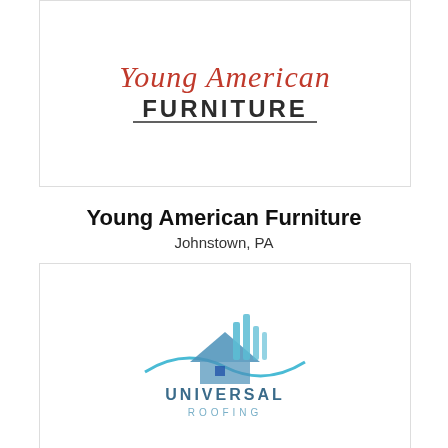[Figure (logo): Young American Furniture logo - script text 'Young American' in red above bold block text 'FURNITURE' in dark gray with underline]
Young American Furniture
Johnstown, PA
[Figure (logo): Universal Roofing logo - teal house/building silhouette with vertical elements above, text 'UNIVERSAL ROOFING' below]
Universal Roofing
Pittsburgh, PA
[Figure (logo): Aglow logo - stylized script text 'Aglow' with flame/sun burst accent, partial view]